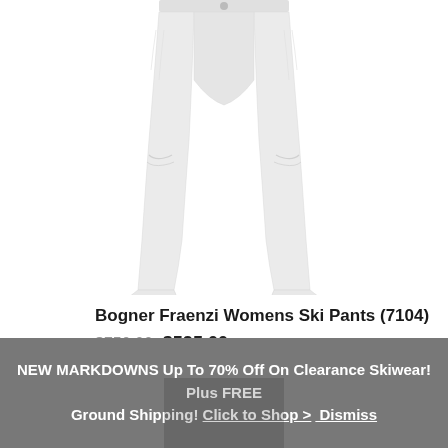[Figure (photo): White ski pants (Bogner Fraenzi) shown from waist down, product photo on white background]
Bogner Fraenzi Womens Ski Pants (7104)
$750.00 $525.00
NEW MARKDOWNS Up To 70% Off On Clearance Skiwear! Plus FREE Ground Shipping! Click to Shop > Dismiss